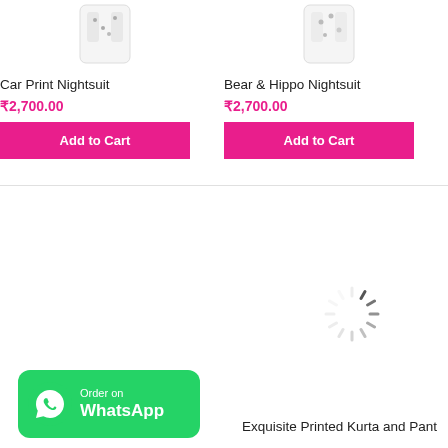[Figure (photo): Car Print Nightsuit product image (partial top of garment visible)]
Car Print Nightsuit
₹2,700.00
Add to Cart
[Figure (photo): Bear & Hippo Nightsuit product image (partial top of garment visible)]
Bear & Hippo Nightsuit
₹2,700.00
Add to Cart
[Figure (other): Loading spinner animation (gray radial lines forming a circle)]
[Figure (logo): WhatsApp Order badge - green rounded rectangle with WhatsApp icon and text 'Order on WhatsApp']
Exquisite Printed Kurta and Pant